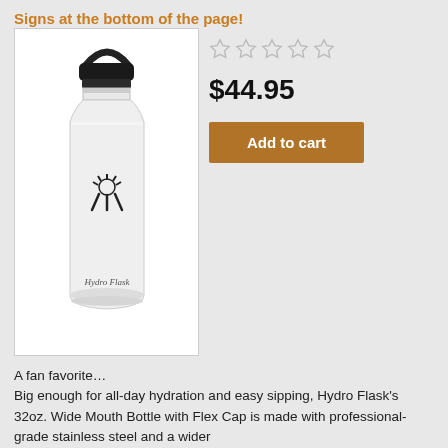Signs at the bottom of the page!
[Figure (photo): Hydro Flask 32oz Wide Mouth Bottle in white with black flex cap and handle, showing the Hydro Flask logo on the body]
☆☆☆☆☆  $44.95  Add to cart
A fan favorite… Big enough for all-day hydration and easy sipping, Hydro Flask's 32oz. Wide Mouth Bottle with Flex Cap is made with professional-grade stainless steel and a wider